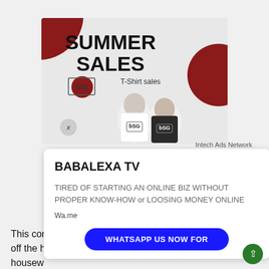[Figure (illustration): Summer Sales T-Shirt advertisement banner with dark red circle decorations, 'SUMMER SALES' headline, 'T-Shirt sales' subtitle, logo, and two models wearing branded t-shirts.]
Intech Ads Network
BABALEXA TV
TIRED OF STARTING AN ONLINE BIZ WITHOUT PROPER KNOW-HOW or LOOSING MONEY ONLINE
Wa.me
WHATSAPP US NOW FOR
This con owing off the h housew